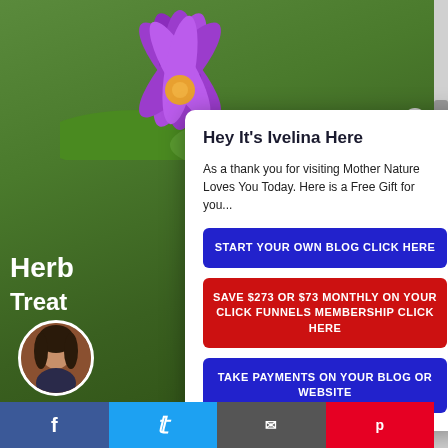[Figure (screenshot): Background photo of purple lotus flower on green lily pads]
Hey It's Ivelina Here
As a thank you for visiting Mother Nature Loves You Today.  Here is a Free Gift for you...
START YOUR OWN BLOG CLICK HERE
SAVE $273 OR $73 MONTHLY ON YOUR CLICK FUNNELS MEMBERSHIP CLICK HERE
TAKE PAYMENTS ON YOUR BLOG OR WEBSITE